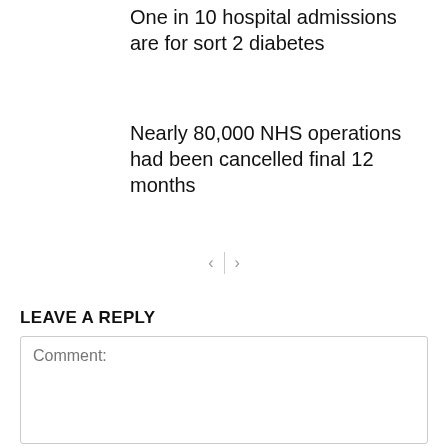One in 10 hospital admissions are for sort 2 diabetes
Nearly 80,000 NHS operations had been cancelled final 12 months
[Figure (other): Navigation arrows (previous/next) with a vertical divider between them]
LEAVE A REPLY
Comment: